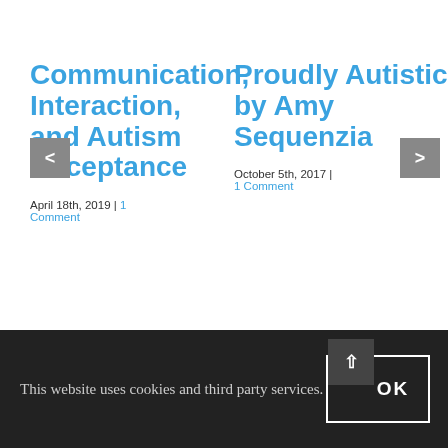Communication, Interaction, and Autism Acceptance
April 18th, 2019 | 1 Comment
Proudly Autistic by Amy Sequenzia
October 5th, 2017 | 1 Comment
This website uses cookies and third party services.